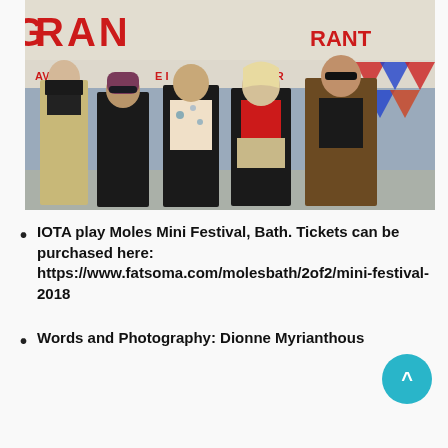[Figure (photo): Five young people (a band named IOTA) standing in front of a Grand theatre/restaurant sign. From left: tall man in beige trench coat and dark scarf, person in black with sunglasses and pink/purple beanie, man in floral shirt and black jacket, blonde woman in red top and black jacket, tall man in brown jacket with sunglasses.]
IOTA play Moles Mini Festival, Bath. Tickets can be purchased here: https://www.fatsoma.com/molesbath/2of2/mini-festival-2018
Words and Photography: Dionne Myrianthous